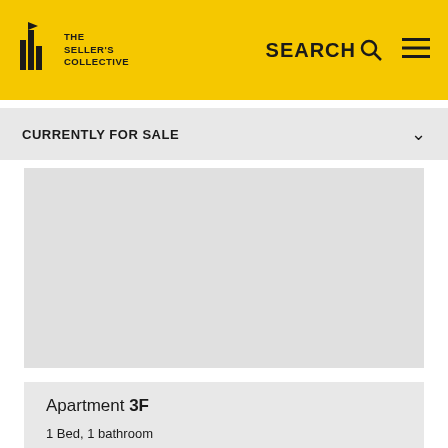THE SELLER'S COLLECTIVE — SEARCH
CURRENTLY FOR SALE
[Figure (other): Gray placeholder content block]
Apartment 3F — 1 Bed, 1 bathroom